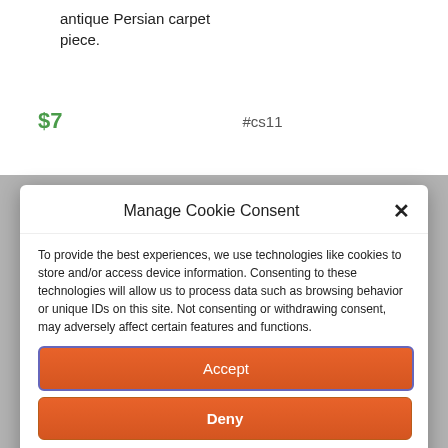antique Persian carpet piece.
$7   #cs11
Manage Cookie Consent
To provide the best experiences, we use technologies like cookies to store and/or access device information. Consenting to these technologies will allow us to process data such as browsing behavior or unique IDs on this site. Not consenting or withdrawing consent, may adversely affect certain features and functions.
Accept
Deny
View preferences
Cookie Policy   Policies